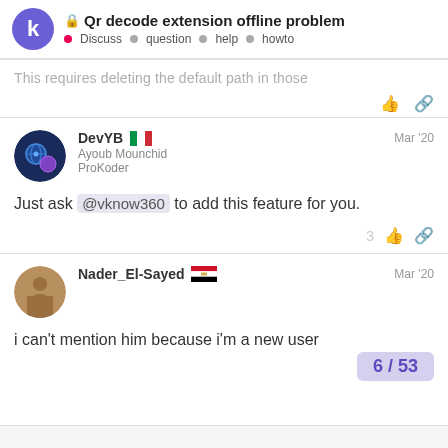Qr decode extension offline problem — Discuss • question • help • howto
This requires deleting the default path in those
Just ask @vknow360 to add this feature for you.
i can't mention him because i'm a new user
6 / 53